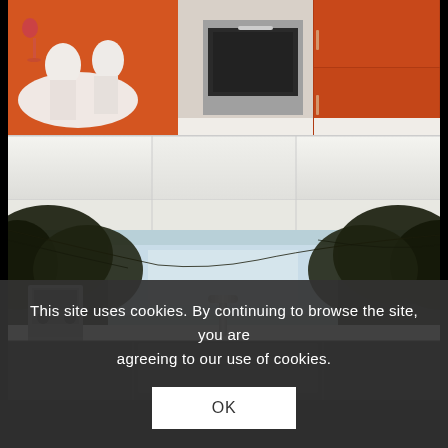[Figure (photo): Orange kitchen cabinets with white dining table, chairs, wine glass, and stainless steel oven built into the cabinetry. White countertop visible at bottom.]
[Figure (photo): White kitchen cabinet panels viewed from below, horizontal row of flat white cabinet doors.]
[Figure (photo): Modern kitchen with white countertop, espresso machine on left, chrome faucet in center, and a panoramic nature photography backsplash showing trees and water. Dark sink area at bottom.]
This site uses cookies. By continuing to browse the site, you are agreeing to our use of cookies.
OK